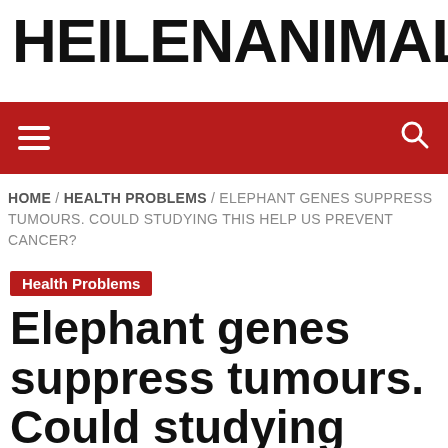HEILENANIMALHE
[Figure (other): Red navigation bar with hamburger menu icon on left and search icon on right]
HOME / HEALTH PROBLEMS / ELEPHANT GENES SUPPRESS TUMOURS. COULD STUDYING THIS HELP US PREVENT CANCER?
Health Problems
Elephant genes suppress tumours. Could studying this help us prevent cancer?